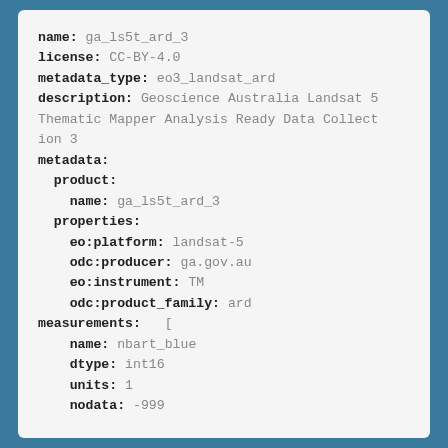name: ga_ls5t_ard_3
license: CC-BY-4.0
metadata_type: eo3_landsat_ard
description: Geoscience Australia Landsat 5 Thematic Mapper Analysis Ready Data Collection 3
metadata:
  product:
    name: ga_ls5t_ard_3
  properties:
    eo:platform: landsat-5
    odc:producer: ga.gov.au
    eo:instrument: TM
    odc:product_family: ard
measurements:   [
    name: nbart_blue
    dtype: int16
    units: 1
    nodata: -999